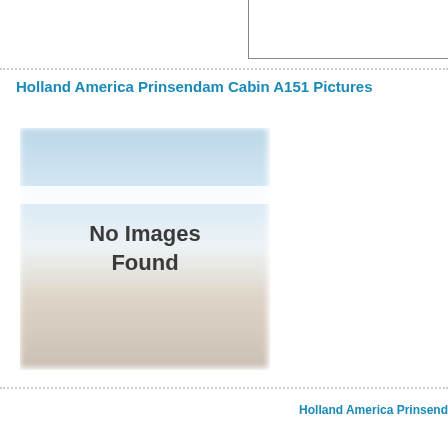Holland America Prinsendam Cabin A151 Pictures
[Figure (photo): Placeholder image showing a blurred cruise ship balcony/deck scene with text overlay reading 'No Images Found']
Holland America Prinsend...